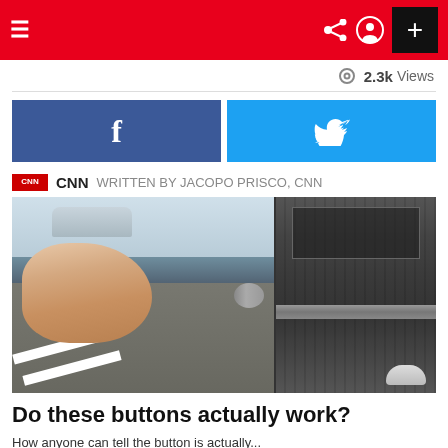CNN app navigation bar with hamburger menu, share, profile, and plus button
2.3k Views
[Figure (screenshot): Facebook share button (dark blue with f icon) and Twitter share button (cyan with bird icon)]
CNN  WRITTEN BY JACOPO PRISCO, CNN
[Figure (photo): A person pressing a pedestrian crosswalk button on a street pole, with a car and crosswalk visible in the background; right side shows close-up of weathered pole with tape and signage]
Do these buttons actually work?
How anyone can tell the button is actually...